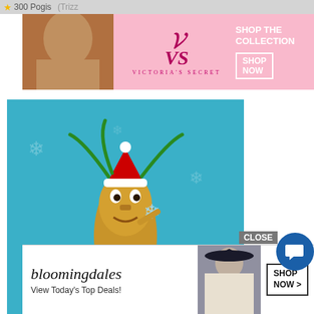300 Pogis (Trizz…
[Figure (photo): Victoria's Secret advertisement banner with model and logo]
[Figure (illustration): Frosty Tiki Lap 3 Badge - a gold tiki character with Santa hat on a dark pedestal with number 3]
[Figure (illustration): Small badge icon showing number 3]
Lumeno – Frosty Tiki Lap 3 Badge
Finish 18 games each remove no less than 10 flowers before the Marathon ends.
300 Pogis
(Lumeno Ranks & Badges)
[Figure (photo): Bloomingdales advertisement - View Today's Top Deals with model in hat and Shop Now button]
CLOSE